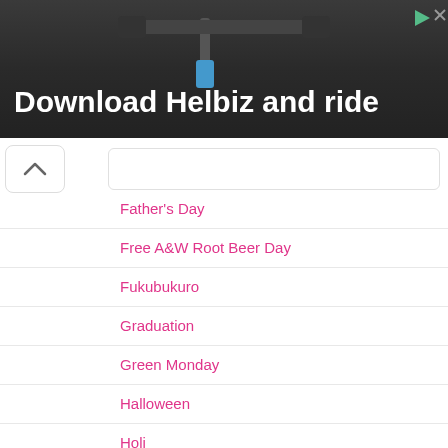[Figure (photo): Advertisement banner showing bicycle handlebars with text 'Download Helbiz and ride']
Father's Day
Free A&W Root Beer Day
Fukubukuro
Graduation
Green Monday
Halloween
Holi
Independence Day / 4th of July